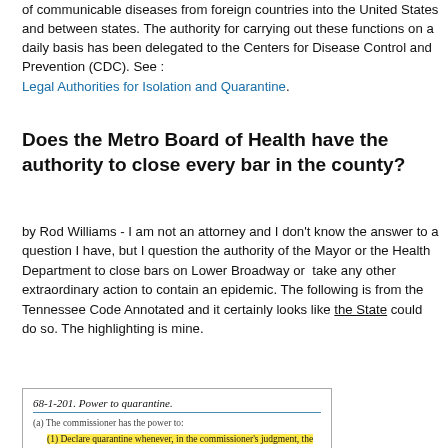of communicable diseases from foreign countries into the United States and between states. The authority for carrying out these functions on a daily basis has been delegated to the Centers for Disease Control and Prevention (CDC). See : Legal Authorities for Isolation and Quarantine.
Does the Metro Board of Health have the authority to close every bar in the county?
by Rod Williams - I am not an attorney and I don't know the answer to a question I have, but I question the authority of the Mayor or the Health Department to close bars on Lower Broadway or  take any other extraordinary action to contain an epidemic. The following is from the Tennessee Code Annotated and it certainly looks like the State could do so. The highlighting is mine.
[Figure (screenshot): Screenshot of Tennessee Code Annotated section 68-1-201, Power to quarantine. Shows the section title underlined in blue, and subsection (a) with text about the commissioner's power, including item (1) highlighted in yellow about declaring quarantine whenever in the commissioner's judgment the welfare of the public...]